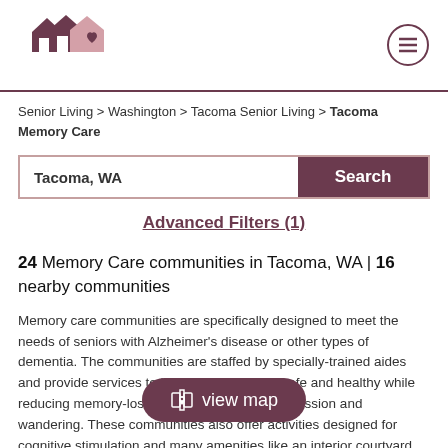[Figure (logo): Senior living website logo with two house silhouettes and a heart]
Senior Living > Washington > Tacoma Senior Living > Tacoma Memory Care
Tacoma, WA | Search
Advanced Filters (1)
24 Memory Care communities in Tacoma, WA | 16 nearby communities
Memory care communities are specifically designed to meet the needs of seniors with Alzheimer's disease or other types of dementia. The communities are staffed by specially-trained aides and provide services to help keep residents safe and healthy while reducing memory-loss symptoms such as aggression and wandering. These communities also offer activities designed for cognitive stimulation and many amenities like an interior courtyard where residents can safely enjoy the outdoors.